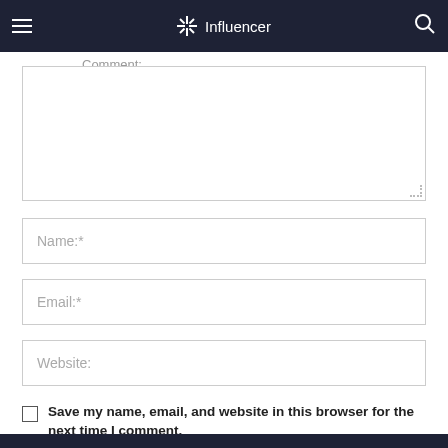Influencer
Comment:
Name:*
Email:*
Website:
Save my name, email, and website in this browser for the next time I comment.